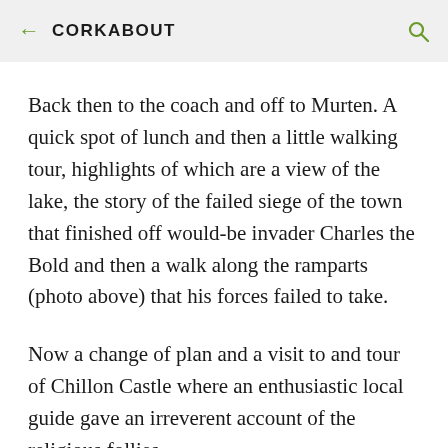← CORKABOUT
Back then to the coach and off to Murten. A quick spot of lunch and then a little walking tour, highlights of which are a view of the lake, the story of the failed siege of the town that finished off would-be invader Charles the Bold and then a walk along the ramparts (photo above) that his forces failed to take.
Now a change of plan and a visit to and tour of Chillon Castle where an enthusiastic local guide gave an irreverent account of the religious follies